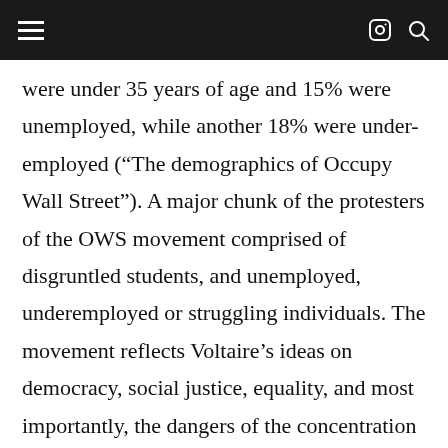Navigation bar with hamburger menu, Instagram icon, and search icon
were under 35 years of age and 15% were unemployed, while another 18% were under-employed (“The demographics of Occupy Wall Street”). A major chunk of the protesters of the OWS movement comprised of disgruntled students, and unemployed, underemployed or struggling individuals. The movement reflects Voltaire’s ideas on democracy, social justice, equality, and most importantly, the dangers of the concentration of power in the hands of a wealthy few. In the present context, corporations, bankers and wealthy politicians have amassed wealth and power at the expense of the